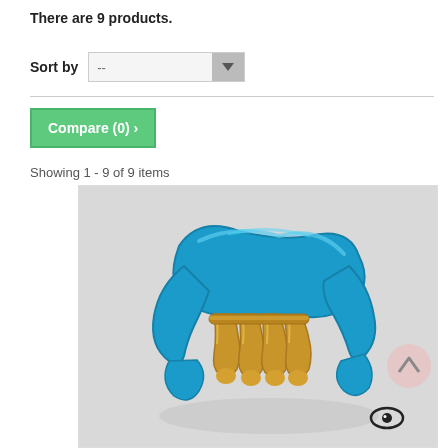There are 9 products.
Sort by  --
Compare (0) >
Showing 1 - 9 of 9 items
[Figure (photo): A metallic blue and gold hair claw clip on a light grey background, with an eye/quick-view icon at the bottom right corner of the product card.]